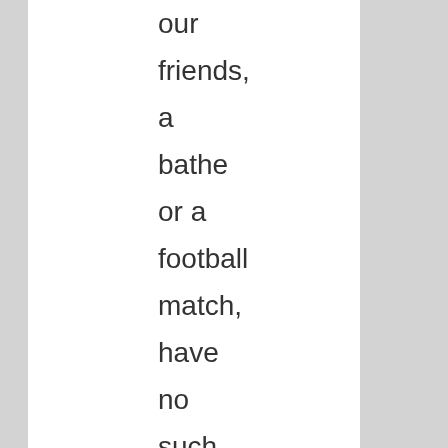our friends, a bathe or a football match, have no such tendency.À Our Father refreshes us on the journey with some pleasant inns, but will